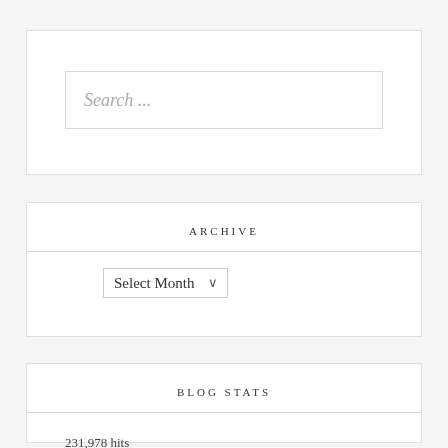Search ...
ARCHIVE
Select Month
BLOG STATS
231,978 hits